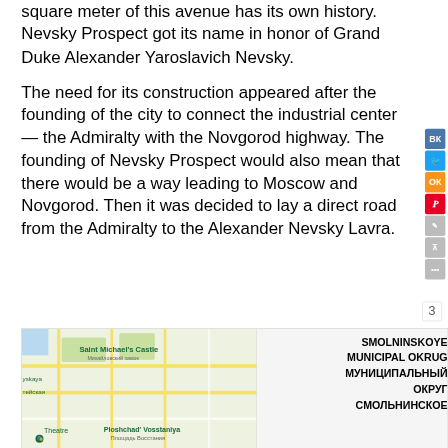square meter of this avenue has its own history. Nevsky Prospect got its name in honor of Grand Duke Alexander Yaroslavich Nevsky.
The need for its construction appeared after the founding of the city to connect the industrial center — the Admiralty with the Novgorod highway. The founding of Nevsky Prospect would also mean that there would be a way leading to Moscow and Novgorod. Then it was decided to lay a direct road from the Admiralty to the Alexander Nevsky Lavra.
[Figure (map): Map showing Saint Michael's Castle (Михайловский замок), Ploshchad' Vosstaniya (Площадь Восстания), Theatre, and Smolninskoye Municipal Okrug (Муниципальный Округ Смольнинское) in Saint Petersburg]